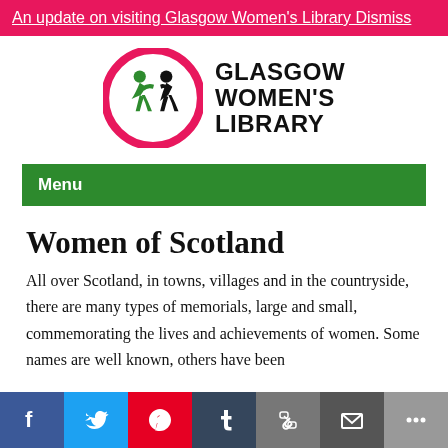An update on visiting Glasgow Women's Library Dismiss
[Figure (logo): Glasgow Women's Library logo: circular pink border with green and black running figures and an 'i', next to bold text reading GLASGOW WOMEN'S LIBRARY]
Menu
Women of Scotland
All over Scotland, in towns, villages and in the countryside, there are many types of memorials, large and small, commemorating the lives and achievements of women. Some names are well known, others have been
[Figure (infographic): Social sharing buttons row: Facebook, Twitter, Pinterest, Tumblr, Copy link, Email, More]